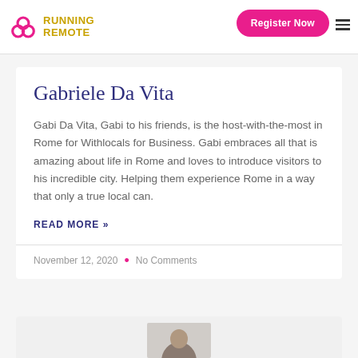Running Remote | Register Now
Gabriele Da Vita
Gabi Da Vita, Gabi to his friends, is the host-with-the-most in Rome for Withlocals for Business. Gabi embraces all that is amazing about life in Rome and loves to introduce visitors to his incredible city. Helping them experience Rome in a way that only a true local can.
READ MORE »
November 12, 2020  •  No Comments